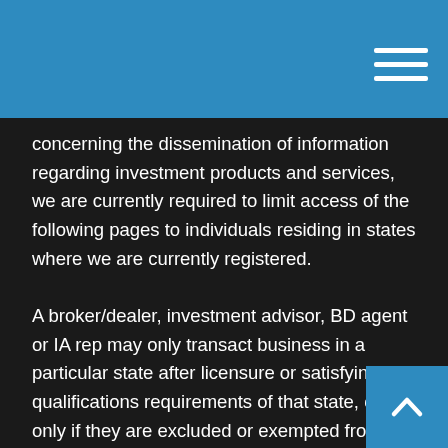concerning the dissemination of information regarding investment products and services, we are currently required to limit access of the following pages to individuals residing in states where we are currently registered.

A broker/dealer, investment advisor, BD agent or IA rep may only transact business in a particular state after licensure or satisfying qualifications requirements of that state, or only if they are excluded or exempted from the states broker/dealer, investment adviser, or BD agent or IA rep requirements, as the case may be; and follow-up, individualized responses to consumers in a particular state by broker/dealer, investment adviser, BD agent or IA rep that involve either the effecting or attempting to effect transactions in securities or the rendering of personalized